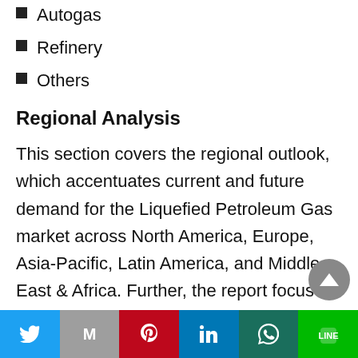Autogas
Refinery
Others
Regional Analysis
This section covers the regional outlook, which accentuates current and future demand for the Liquefied Petroleum Gas market across North America, Europe, Asia-Pacific, Latin America, and Middle East & Africa. Further, the report focuses on demand, estimation, and forecast for individual application segments across all the prominent regions.